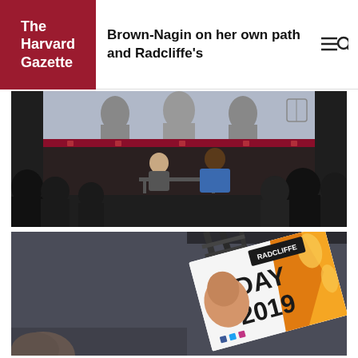The Harvard Gazette — Brown-Nagin on her own path and Radcliffe's
[Figure (photo): Event photo showing two speakers on a stage at a Harvard/Radcliffe event, with an audience watching, and a large projection screen behind them.]
[Figure (photo): Photo of a 'Radcliffe Day 2019' banner/sign displayed on a screen or projector, featuring an orange and white design with a person's face visible.]